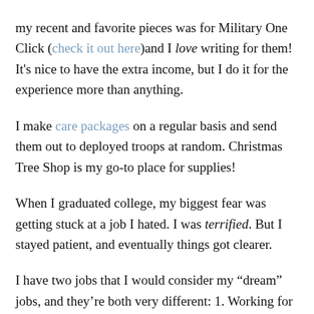my recent and favorite pieces was for Military One Click (check it out here)and I love writing for them! It's nice to have the extra income, but I do it for the experience more than anything.
I make care packages on a regular basis and send them out to deployed troops at random. Christmas Tree Shop is my go-to place for supplies!
When I graduated college, my biggest fear was getting stuck at a job I hated. I was terrified. But I stayed patient, and eventually things got clearer.
I have two jobs that I would consider my “dream” jobs, and they’re both very different: 1. Working for a newspaper or magazine and having my own section each week/edition. 2. Working with animals, either as a foster or volunteering at a Refuge.